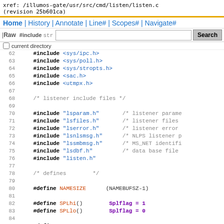xref: /illumos-gate/usr/src/cmd/listen/listen.c
(revision 25b601ca)
Home | History | Annotate | Line# | Scopes# | Navigate#
| Raw  #include str  [Search button]
[ ] current directory
62    #include <sys/ipc.h>
63    #include <sys/poll.h>
64    #include <sys/stropts.h>
65    #include <sac.h>
66    #include <utmpx.h>
67
68    /* listener include files */
69
70    #include "lsparam.h"   /* listener parame
71    #include "lsfiles.h"   /* listener files
72    #include "lserror.h"   /* listener error
73    #include "lsnlsmsg.h"  /* NLPS listener p
74    #include "lssmbmsg.h" /* MS_NET identifi
75    #include "lsdbf.h"    /* data base file
76    #include "listen.h"
77
78    /* defines       */
79
80    #define NAMESIZE      (NAMEBUFSZ-1)
81
82    #define SPLhi()       Splflag = 1
83    #define SPLlo()       Splflag = 0
84
85    #define GEN   1